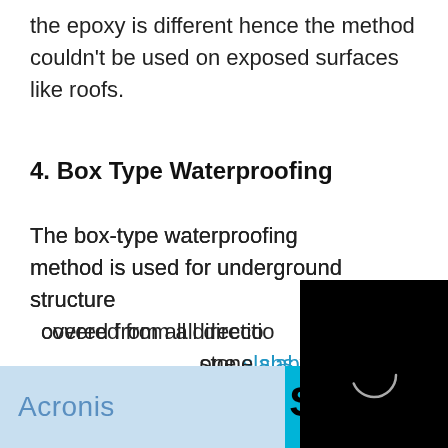the epoxy is different hence the method couldn't be used on exposed surfaces like roofs.
4. Box Type Waterproofing
The box-type waterproofing method is used for underground structures. The structure is covered from all directions. Formerly, large stone slabs were put into the trenches as blinding concrete.
[Figure (other): Black video overlay with loading spinner circle, partially covering the body text. Has an X close button in the top right corner.]
[Figure (other): Acronis advertisement banner with light blue background and 'Acronis' text in blue.]
[Figure (other): Shore advertisement banner with cyan/turquoise background and bold 'SHORE' text in black with wave underline.]